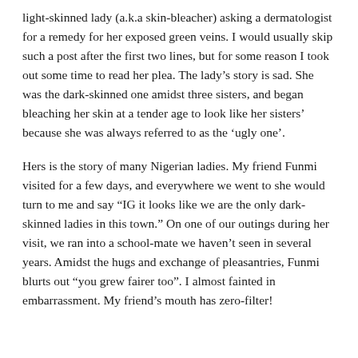light-skinned lady (a.k.a skin-bleacher) asking a dermatologist for a remedy for her exposed green veins. I would usually skip such a post after the first two lines, but for some reason I took out some time to read her plea. The lady's story is sad. She was the dark-skinned one amidst three sisters, and began bleaching her skin at a tender age to look like her sisters' because she was always referred to as the 'ugly one'.
Hers is the story of many Nigerian ladies. My friend Funmi visited for a few days, and everywhere we went to she would turn to me and say "IG it looks like we are the only dark-skinned ladies in this town." On one of our outings during her visit, we ran into a school-mate we haven't seen in several years. Amidst the hugs and exchange of pleasantries, Funmi blurts out "you grew fairer too". I almost fainted in embarrassment. My friend's mouth has zero-filter!